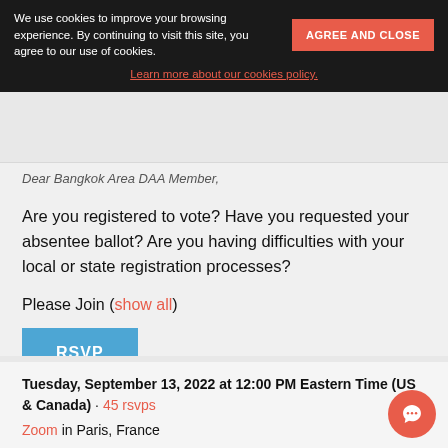We use cookies to improve your browsing experience. By continuing to visit this site, you agree to our use of cookies.
AGREE AND CLOSE
Learn more about our cookies policy.
Dear Bangkok Area DAA Member,
Are you registered to vote? Have you requested your absentee ballot? Are you having difficulties with your local or state registration processes?
Please Join (show all)
RSVP
Tuesday, September 13, 2022 at 12:00 PM Eastern Time (US & Canada) · 45 rsvps
Zoom in Paris, France